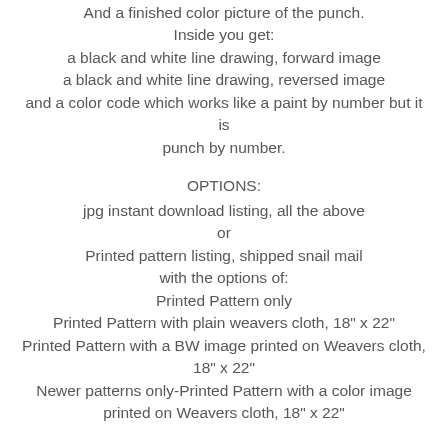And a finished color picture of the punch.
Inside you get:
a black and white line drawing, forward image
a black and white line drawing, reversed image
and a color code which works like a paint by number but it is punch by number.
OPTIONS:
jpg instant download listing, all the above
or
Printed pattern listing, shipped snail mail
with the options of:
Printed Pattern only
Printed Pattern with plain weavers cloth, 18" x 22"
Printed Pattern with a BW image printed on Weavers cloth, 18" x 22"
Newer patterns only-Printed Pattern with a color image printed on Weavers cloth, 18" x 22"
A new offering in my Etsy shop Pixie at Play, Punch needle pattern.
Pixie at Play information: